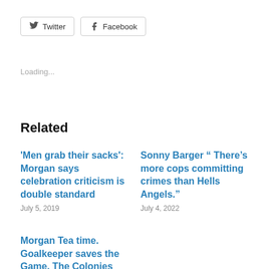Twitter
Facebook
Loading...
Related
'Men grab their sacks': Morgan says celebration criticism is double standard
July 5, 2019
Sonny Barger “ There’s more cops committing crimes than Hells Angels.”
July 4, 2022
Morgan Tea time. Goalkeeper saves the Game. The Colonies